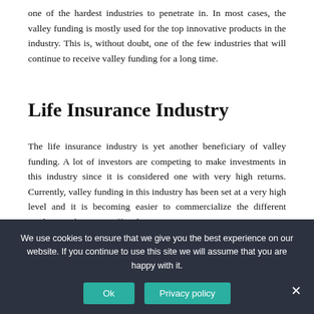one of the hardest industries to penetrate in. In most cases, the valley funding is mostly used for the top innovative products in the industry. This is, without doubt, one of the few industries that will continue to receive valley funding for a long time.
Life Insurance Industry
The life insurance industry is yet another beneficiary of valley funding. A lot of investors are competing to make investments in this industry since it is considered one with very high returns. Currently, valley funding in this industry has been set at a very high level and it is becoming easier to commercialize the different products and services offered.
We use cookies to ensure that we give you the best experience on our website. If you continue to use this site we will assume that you are happy with it.